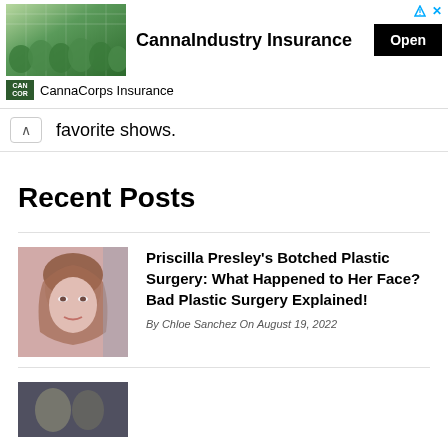[Figure (photo): Advertisement banner for CannaIndustry Insurance with greenhouse photo]
CannaCorps Insurance
favorite shows.
Recent Posts
[Figure (photo): Thumbnail photo of Priscilla Presley]
Priscilla Presley's Botched Plastic Surgery: What Happened to Her Face? Bad Plastic Surgery Explained!
By Chloe Sanchez On August 19, 2022
[Figure (photo): Thumbnail photo for second recent post]